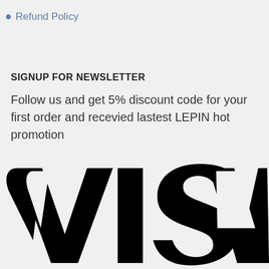Refund Policy
SIGNUP FOR NEWSLETTER
Follow us and get 5% discount code for your first order and recevied lastest LEPIN hot promotion
[Figure (logo): VISA payment logo in large black bold text on light grey background]